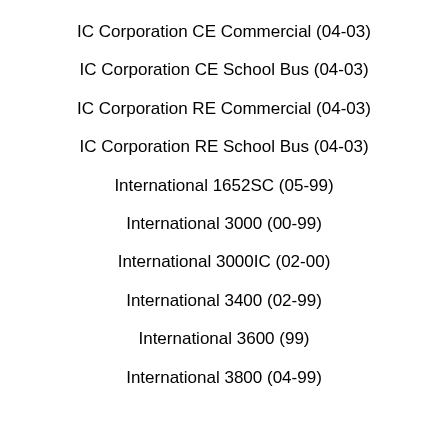IC Corporation CE Commercial (04-03)
IC Corporation CE School Bus (04-03)
IC Corporation RE Commercial (04-03)
IC Corporation RE School Bus (04-03)
International 1652SC (05-99)
International 3000 (00-99)
International 3000IC (02-00)
International 3400 (02-99)
International 3600 (99)
International 3800 (04-99)